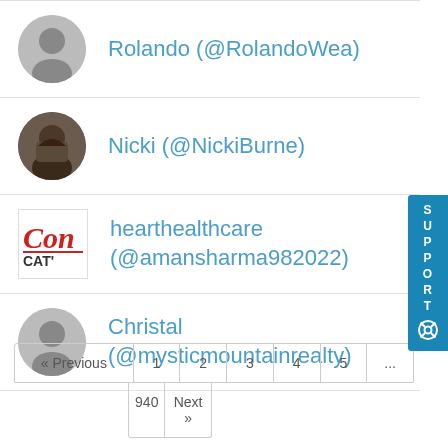Rolando (@RolandoWea)
Nicki (@NickiBurne)
hearthealthcare (@amansharma982022)
Christal (@mysticmountainrealty)
« Previous  1  2  3  4  5  ...  940  Next »